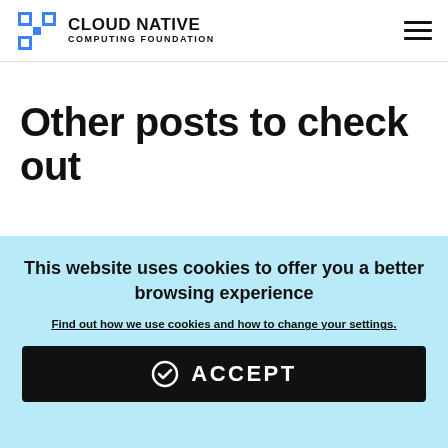CLOUD NATIVE COMPUTING FOUNDATION
Other posts to check out
[Figure (illustration): Blog post card with purple background titled 'How to build a scheduler']
[Figure (illustration): Circular illustration with light purple background and a dark brown circle with teal plus sign, yellow strip on right edge]
This website uses cookies to offer you a better browsing experience
Find out how we use cookies and how to change your settings.
ACCEPT